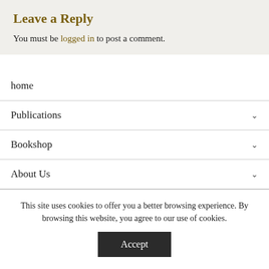Leave a Reply
You must be logged in to post a comment.
home
Publications
Bookshop
About Us
This site uses cookies to offer you a better browsing experience. By browsing this website, you agree to our use of cookies.
Accept